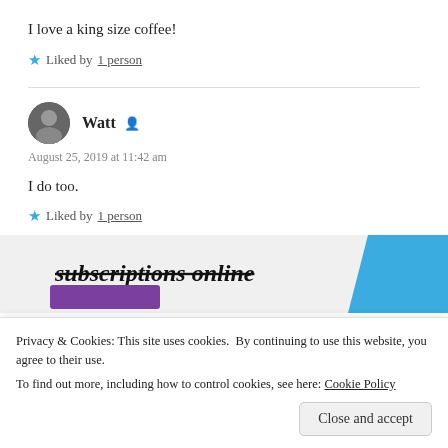I love a king size coffee!
★ Liked by 1 person
Watt
August 25, 2019 at 11:42 am
I do too.
★ Liked by 1 person
[Figure (other): Partial advertisement banner showing 'subscriptions online' text with purple button and blue shape on right]
Privacy & Cookies: This site uses cookies. By continuing to use this website, you agree to their use. To find out more, including how to control cookies, see here: Cookie Policy
Close and accept